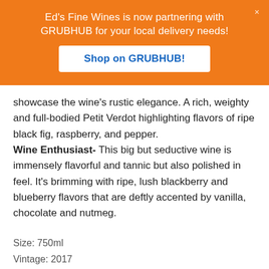[Figure (infographic): Orange promotional banner: 'Ed's Fine Wines is now partnering with GRUBHUB for your local delivery needs!' with a 'Shop on GRUBHUB!' button and a close X.]
showcase the wine's rustic elegance. A rich, weighty and full-bodied Petit Verdot highlighting flavors of ripe black fig, raspberry, and pepper.
Wine Enthusiast- This big but seductive wine is immensely flavorful and tannic but also polished in feel. It's brimming with ripe, lush blackberry and blueberry flavors that are deftly accented by vanilla, chocolate and nutmeg.
Size: 750ml
Vintage: 2017